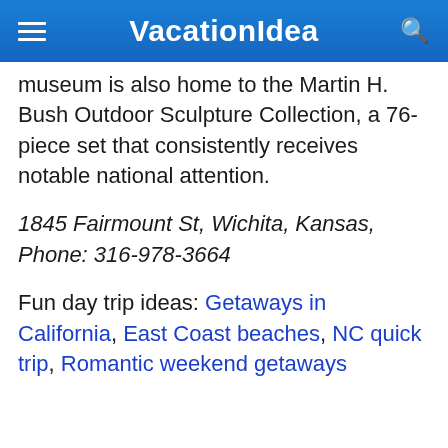VacationIdea
museum is also home to the Martin H. Bush Outdoor Sculpture Collection, a 76-piece set that consistently receives notable national attention.
1845 Fairmount St, Wichita, Kansas, Phone: 316-978-3664
Fun day trip ideas: Getaways in California, East Coast beaches, NC quick trip, Romantic weekend getaways